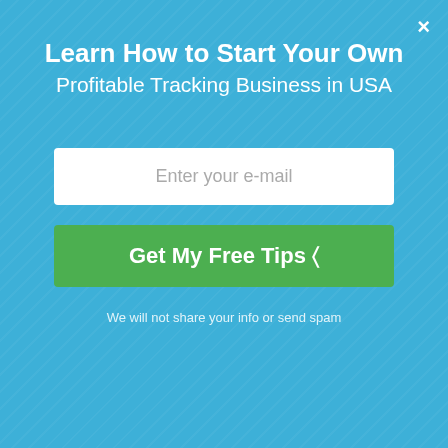Learn How to Start Your Own Profitable Tracking Business in USA
Enter your e-mail
Get My Free Tips 🎁
We will not share your info or send spam
Buy GPS Tracking Device
[Figure (infographic): Stats strip with three cells: OVER 100 000, APPROXIMATELY 1 550 000, MORE THAN 145 BILLION]
This site uses cookies to improve your user experience read more.
Accept